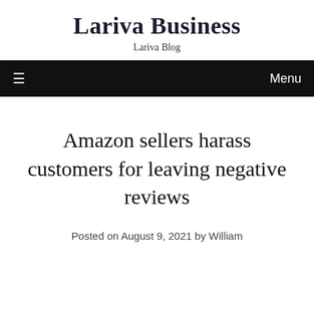Lariva Business
Lariva Blog
Amazon sellers harass customers for leaving negative reviews
Posted on August 9, 2021 by William